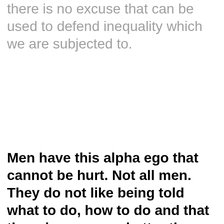there is no excuse that can be used to defend inequality which we are subjected to.
Men have this alpha ego that cannot be hurt. Not all men. They do not like being told what to do, how to do and that there is someone better than them. Since ancient times men are crowned to be